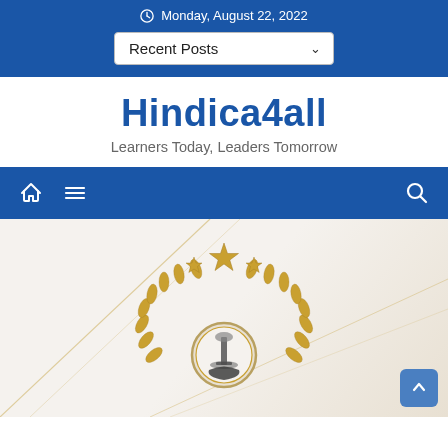Monday, August 22, 2022
Recent Posts
Hindica4all
Learners Today, Leaders Tomorrow
[Figure (screenshot): Navigation bar with home icon, hamburger menu, and search icon on blue background]
[Figure (photo): Indian Police Service emblem on a geometric light background with gold laurel wreath, star, and Ashoka pillar badge]